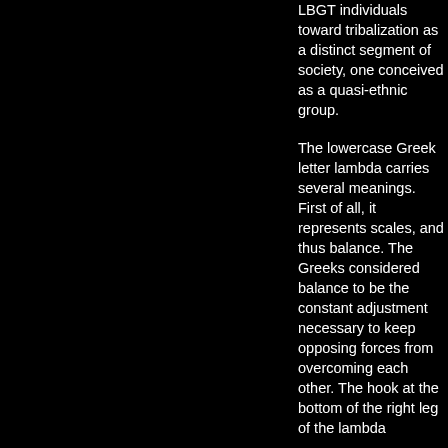LBGT individuals toward tribalization as a distinct segment of society, one conceived as a quasi-ethnic group.
The lowercase Greek letter lambda carries several meanings. First of all, it represents scales, and thus balance. The Greeks considered balance to be the constant adjustment necessary to keep opposing forces from overcoming each other. The hook at the bottom of the right leg of the lambda